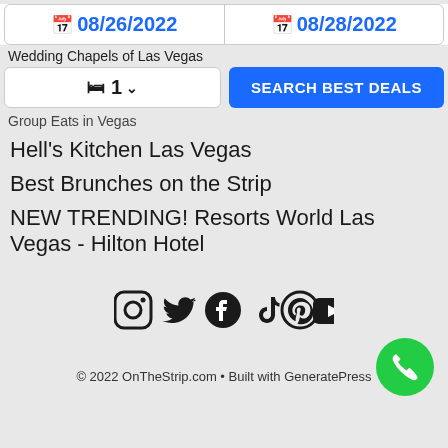08/26/2022 | 08/28/2022
Wedding Chapels of Las Vegas
1 | SEARCH BEST DEALS
Group Eats in Vegas
Hell's Kitchen Las Vegas
Best Brunches on the Strip
NEW TRENDING! Resorts World Las Vegas - Hilton Hotel
[Figure (infographic): Social media icons row: Instagram, Twitter, Facebook, TikTok, Pinterest, YouTube]
© 2022 OnTheStrip.com • Built with GeneratePress